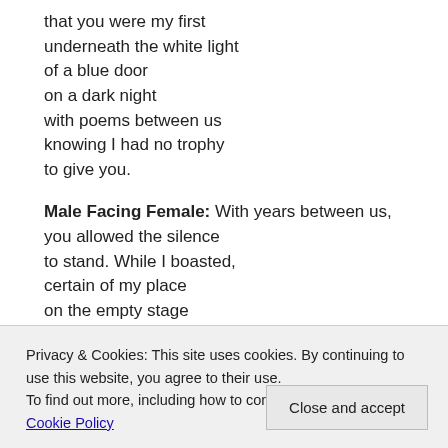that you were my first
underneath the white light
of a blue door
on a dark night
with poems between us
knowing I had no trophy
to give you.

Male Facing Female: With years between us,
you allowed the silence
to stand. While I boasted,
certain of my place
on the empty stage
of your auditorium.
Privacy & Cookies: This site uses cookies. By continuing to use this website, you agree to their use.
To find out more, including how to control cookies, see here: Cookie Policy
Close and accept